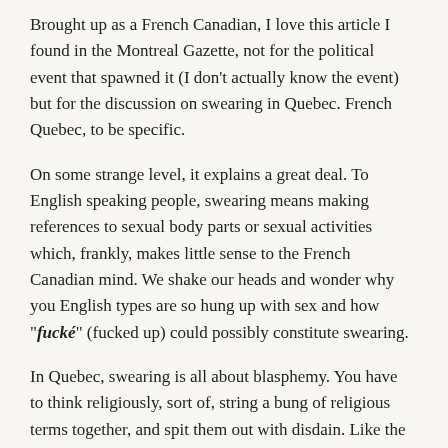Brought up as a French Canadian, I love this article I found in the Montreal Gazette, not for the political event that spawned it (I don't actually know the event) but for the discussion on swearing in Quebec. French Quebec, to be specific.
On some strange level, it explains a great deal. To English speaking people, swearing means making references to sexual body parts or sexual activities which, frankly, makes little sense to the French Canadian mind. We shake our heads and wonder why you English types are so hung up with sex and how "fucké" (fucked up) could possibly constitute swearing.
In Quebec, swearing is all about blasphemy. You have to think religiously, sort of, string a bung of religious terms together, and spit them out with disdain. Like the following . . .